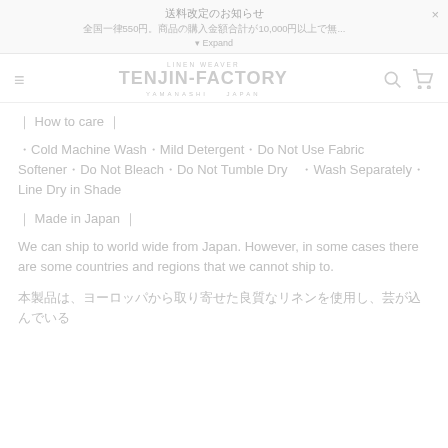送料改定のお知らせ
全国一律550円。商品の購入金額合計が10,000円以上で無... ×
▾ Expand
LINEN WEAVER TENJIN-FACTORY YAMANASHI JAPAN
｜ How to care ｜
・Cold Machine Wash・Mild Detergent・Do Not Use Fabric Softener・Do Not Bleach・Do Not Tumble Dry　・Wash Separately・Line Dry in Shade
｜ Made in Japan ｜
We can ship to world wide from Japan. However, in some cases there are some countries and regions that we cannot ship to.
本製品は、ヨーロッパから取り寄せた良質なリネンを使用し、芸が込んでいる...